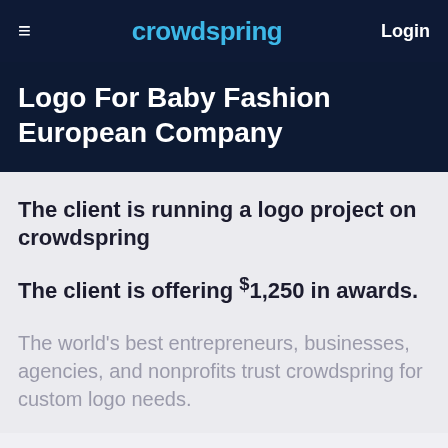crowdspring  Login
Logo For Baby Fashion European Company
The client is running a logo project on crowdspring
The client is offering $1,250 in awards.
The world's best entrepreneurs, businesses, agencies, and nonprofits trust crowdspring for custom logo needs.